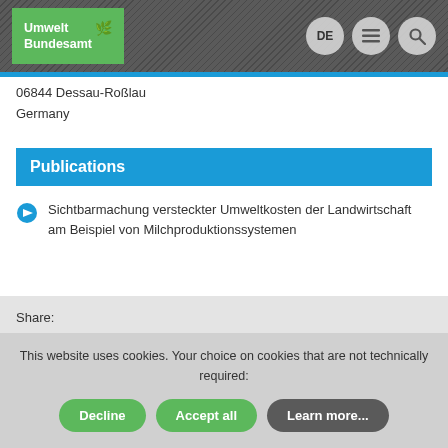Umwelt Bundesamt | DE | menu | search
06844 Dessau-Roßlau
Germany
Publications
Sichtbarmachung versteckter Umweltkosten der Landwirtschaft am Beispiel von Milchproduktionssystemen
Share:
Facebook  Twitter
This website uses cookies. Your choice on cookies that are not technically required:
Decline  Accept all  Learn more...